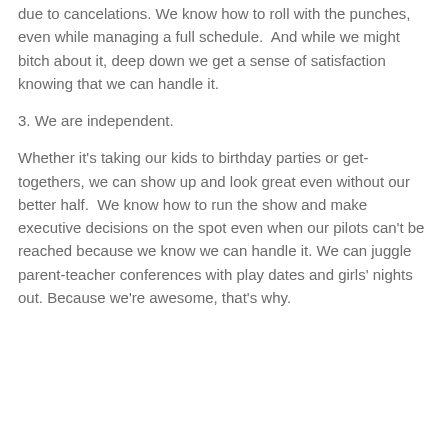due to cancelations. We know how to roll with the punches, even while managing a full schedule.  And while we might bitch about it, deep down we get a sense of satisfaction knowing that we can handle it.
3. We are independent.
Whether it's taking our kids to birthday parties or get-togethers, we can show up and look great even without our better half.  We know how to run the show and make executive decisions on the spot even when our pilots can't be reached because we know we can handle it. We can juggle parent-teacher conferences with play dates and girls' nights out. Because we're awesome, that's why.